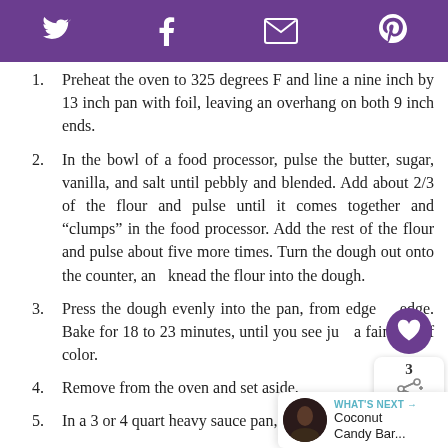Social share bar with Twitter, Facebook, Email, Pinterest icons
Preheat the oven to 325 degrees F and line a nine inch by 13 inch pan with foil, leaving an overhang on both 9 inch ends.
In the bowl of a food processor, pulse the butter, sugar, vanilla, and salt until pebbly and blended. Add about 2/3 of the flour and pulse until it comes together and “clumps” in the food processor. Add the rest of the flour and pulse about five more times. Turn the dough out onto the counter, and knead the flour into the dough.
Press the dough evenly into the pan, from edge to edge. Bake for 18 to 23 minutes, until you see just a faint bit of color.
Remove from the oven and set aside.
In a 3 or 4 quart heavy sauce pan, add all of the